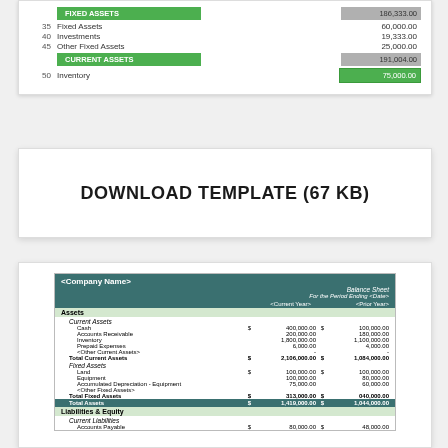[Figure (screenshot): Partial spreadsheet screenshot showing Fixed Assets section with FIXED ASSETS header row (186,333.00), row 35 Fixed Assets (60,000.00), row 40 Investments (19,333.00), row 45 Other Fixed Assets (25,000.00), CURRENT ASSETS header row (191,004.00), row 50 Inventory highlighted in green (75,000.00)]
DOWNLOAD TEMPLATE (67 KB)
[Figure (screenshot): Balance sheet spreadsheet template screenshot showing Company Name, Balance Sheet, For the Period Ending <Date>, columns for Current Year and Prior Year. Assets section with Current Assets (Cash, Accounts Receivable, Inventory, Prepaid Expenses, Other Current Assets, Total Current Assets), Fixed Assets (Land, Equipment, Accumulated Depreciation - Equipment, Other Fixed Assets, Total Fixed Assets, Total Assets). Liabilities & Equity section with Current Liabilities (Accounts Payable).]